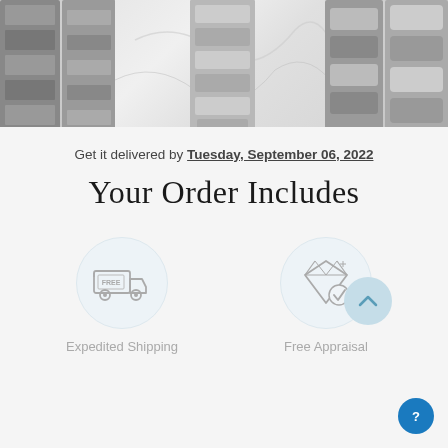[Figure (photo): Photo of silver watch bracelets/bands on marble surface, cropped to show three watch bands side by side]
Get it delivered by Tuesday, September 06, 2022
Your Order Includes
[Figure (illustration): Icon of a delivery truck with FREE label inside a circle, labeled Expedited Shipping]
[Figure (illustration): Icon of a diamond with a checkmark badge inside a circle, labeled Free Appraisal]